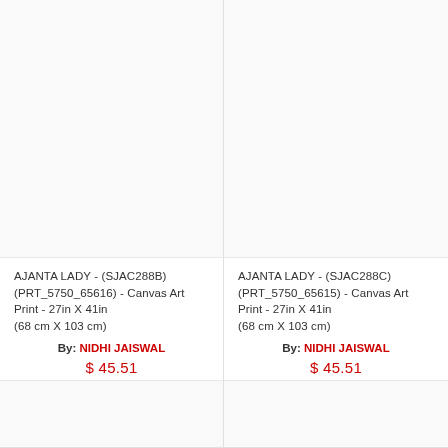[Figure (photo): Product image placeholder for AJANTA LADY (SJAC288B) canvas art print, white/blank area]
AJANTA LADY - (SJAC288B) (PRT_5750_65616) - Canvas Art Print - 27in X 41in (68 cm X 103 cm)
By: NIDHI JAISWAL
$45.51
[Figure (photo): Product image placeholder for AJANTA LADY (SJAC288B) canvas art print, white/blank area, bottom card]
[Figure (photo): Product image placeholder for AJANTA LADY (SJAC288C) canvas art print, white/blank area]
AJANTA LADY - (SJAC288C) (PRT_5750_65615) - Canvas Art Print - 27in X 41in (68 cm X 103 cm)
By: NIDHI JAISWAL
$45.51
[Figure (photo): Product image placeholder for AJANTA LADY (SJAC288C) canvas art print, white/blank area, bottom card]